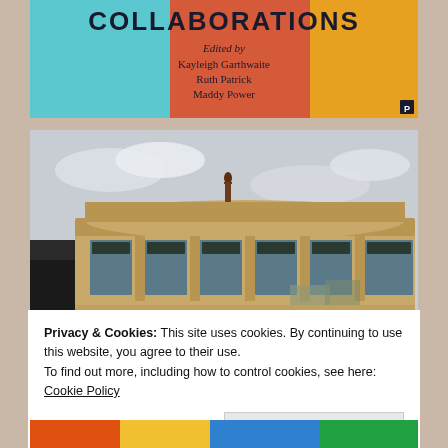[Figure (photo): Top portion of a book cover titled COLLABORATIONS, edited by Kayleigh Garthwaite, Ruth Patrick, Maddy Power. Colorful cover with teal, red/orange and yellow sections.]
[Figure (photo): Photograph of a classical stone building facade with ornate architecture, large windows, and a small statue or figure standing on the rooftop. Overcast sky in the background.]
Privacy & Cookies: This site uses cookies. By continuing to use this website, you agree to their use.
To find out more, including how to control cookies, see here: Cookie Policy
Close and accept
[Figure (photo): Bottom strip of colorful image, partially visible.]